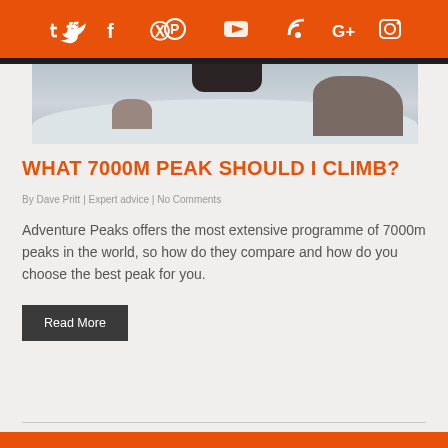Social icons: Twitter, Facebook, Pinterest, YouTube, RSS, Google+, Instagram
[Figure (photo): Snow-covered mountain peak with dark rock formations, partial view of mountaineering scene]
WHAT 7000M PEAK SHOULD I CLIMB?
By Dave Pritt | Expert advice | No Comments
Adventure Peaks offers the most extensive programme of 7000m peaks in the world, so how do they compare and how do you choose the best peak for you.
Read More